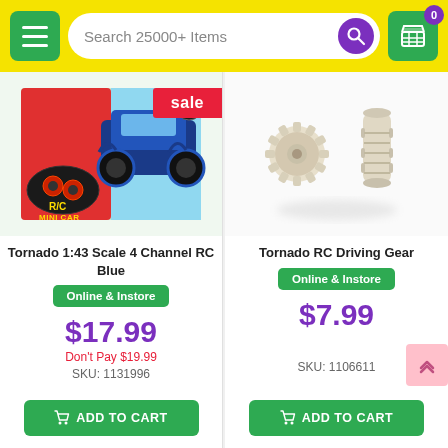Search 25000+ Items
[Figure (photo): RC Mini Car product box showing a blue 4WD monster truck with remote controller, labeled RC Mini Car]
sale
Tornado 1:43 Scale 4 Channel RC Blue
Online & Instore
$17.99
Don't Pay $19.99
SKU: 1131996
ADD TO CART
[Figure (photo): Two white plastic RC driving gear cog pieces on white background]
Tornado RC Driving Gear
Online & Instore
$7.99
SKU: 1106611
ADD TO CART